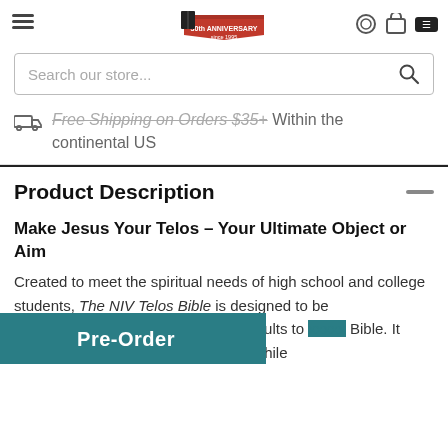[Logo: 30th Anniversary since 1995] [icons: circle, cart, menu]
Search our store...
Free Shipping on Orders $35+ Within the continental US
Product Description
Make Jesus Your Telos – Your Ultimate Object or Aim
Created to meet the spiritual needs of high school and college students, The NIV Telos Bible is designed to be ... challenge young adults to ... Bible. It encourages this ... and follow Jesus while